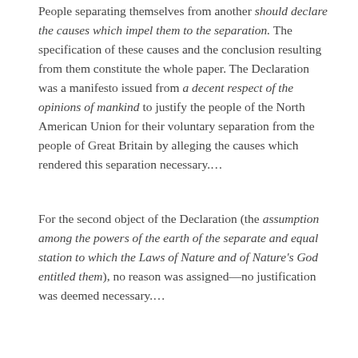People separating themselves from another should declare the causes which impel them to the separation. The specification of these causes and the conclusion resulting from them constitute the whole paper. The Declaration was a manifesto issued from a decent respect of the opinions of mankind to justify the people of the North American Union for their voluntary separation from the people of Great Britain by alleging the causes which rendered this separation necessary.…
For the second object of the Declaration (the assumption among the powers of the earth of the separate and equal station to which the Laws of Nature and of Nature's God entitled them), no reason was assigned—no justification was deemed necessary.…